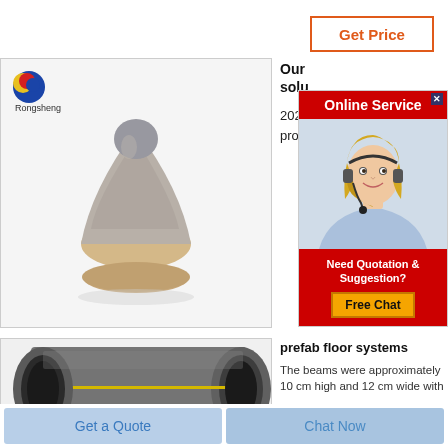Get Price
[Figure (photo): Product photo showing a rounded cone/mushroom shaped pile of gray/beige powder or granule material on a white background, with Rongsheng logo top-left]
[Figure (photo): Photo of gray cylindrical graphite electrode rolls with yellow stripe, stacked together]
Our solutions 2021 produ
[Figure (screenshot): Online Service popup with red header, customer service agent photo (blonde woman with headset), and red bottom section with Need Quotation & Suggestion? Free Chat button]
prefab floor systems
The beams were approximately 10 cm high and 12 cm wide with
Get a Quote
Chat Now